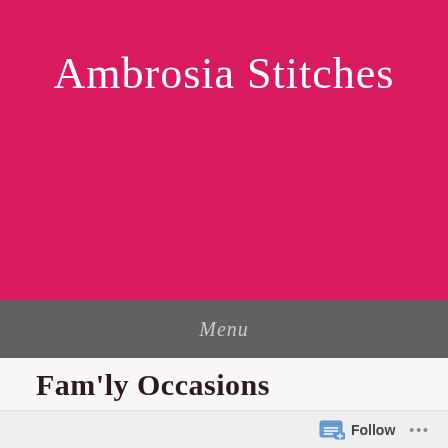Ambrosia Stitches
Menu
Fam'ly Occasions
Posted on February 29, 2016 by ambrosiastitches
Follow ...